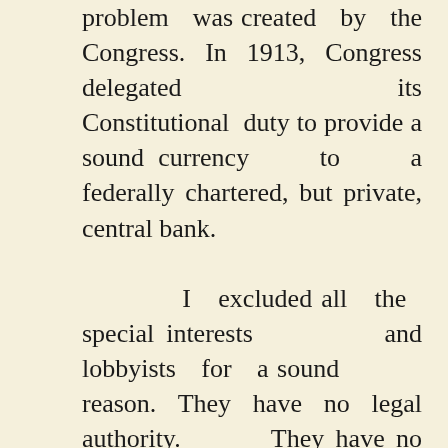problem was created by the Congress. In 1913, Congress delegated its Constitutional duty to provide a sound currency to a federally chartered, but private, central bank.

I excluded all the special interests and lobbyists for a sound reason. They have no legal authority. They have no ability to coerce a senator, a congressman, or a President to do one